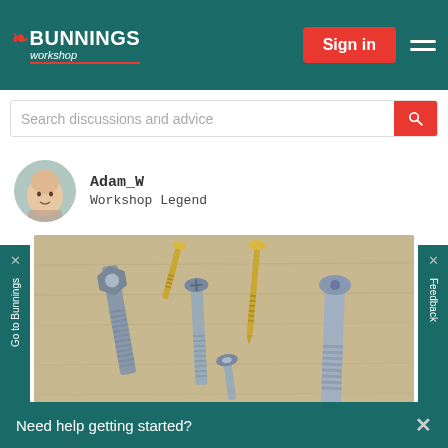[Figure (logo): Bunnings Workshop logo in white on teal header background]
Sign in
Search discussions and advice
Adam_W
Workshop Legend
[Figure (photo): Various screws and fasteners laid on a wooden surface, including grey hex-head screws, gold-coloured screws, and a large grey bolt]
Screws are essential fasteners for many home improvement projects, and are quick and easy to use thanks to the power and convenience of modern drill drivers.
Go to Bunnings
Feedback
Need help getting started?